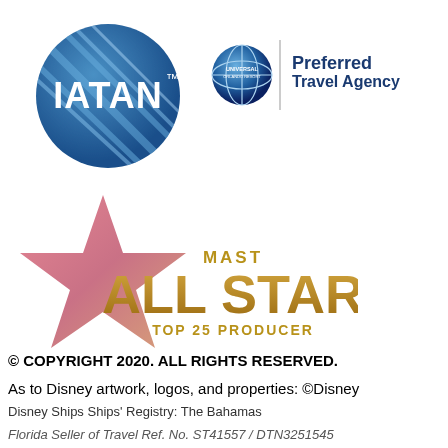[Figure (logo): IATAN logo - blue circular badge with IATAN text in white and TM mark]
[Figure (logo): Universal Orlando Resort Preferred Travel Agency logo - globe icon with Universal Orlando Resort text and Preferred Travel Agency text in bold blue]
[Figure (logo): MAST All Star Top 25 Producer logo - star shape in pink/coral gradient with gold ALL STAR text and MAST above, TOP 25 PRODUCER below]
© COPYRIGHT 2020. ALL RIGHTS RESERVED.
As to Disney artwork, logos, and properties: ©Disney
Disney Ships Ships' Registry: The Bahamas
Florida Seller of Travel Ref. No. ST41557 / DTN3251545